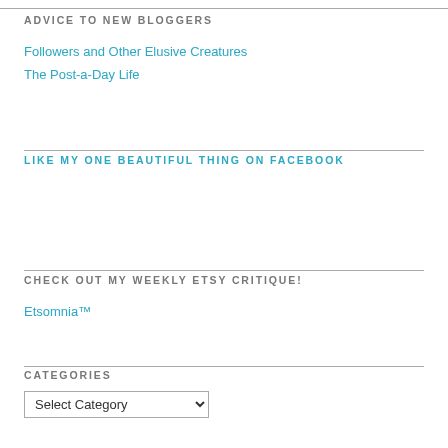ADVICE TO NEW BLOGGERS
Followers and Other Elusive Creatures
The Post-a-Day Life
LIKE MY ONE BEAUTIFUL THING ON FACEBOOK
CHECK OUT MY WEEKLY ETSY CRITIQUE!
Etsomnia™
CATEGORIES
Select Category